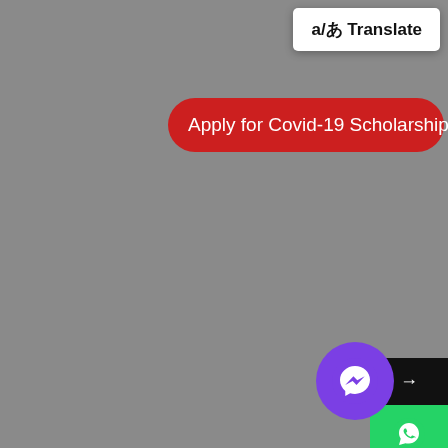[Figure (screenshot): Translate button in top right corner, white background with bold text 'a/あ Translate']
Apply for Covid-19 Scholarships
[Figure (screenshot): Share panel on right side with arrow, WhatsApp green icon, and Facebook Messenger blue icon]
[Figure (screenshot): Facebook Messenger floating action button (purple circle with white messenger lightning bolt icon) in bottom right area]